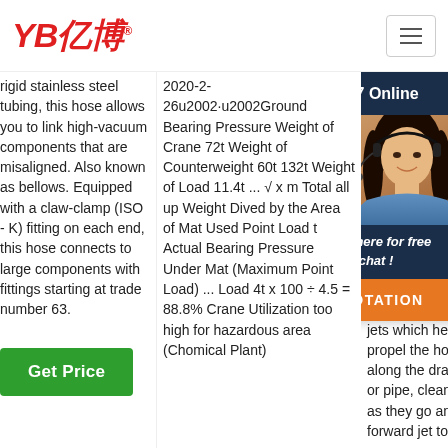YB亿博® [logo] | Menu
rigid stainless steel tubing, this hose allows you to link high-vacuum components that are misaligned. Also known as bellows. Equipped with a claw-clamp (ISO - K) fitting on each end, this hose connects to large components with fittings starting at trade number 63.
Get Price
2020-2-26u2002·u2002Ground Bearing Pressure Weight of Crane 72t Weight of Counterweight 60t 132t Weight of Load 11.4t ... √ x m Total all up Weight Dived by the Area of Mat Used Point Load t Actual Bearing Pressure Under Mat (Maximum Point Load) ... Load 4t x 100 ÷ 4.5 = 88.8% Crane Utilization too high for hazardous area (Chomical Plant)
Karcher K components weight nylon drain Ideal and drain The stainless cleaning nozzle has 3 rear facing jets which help to propel the hose along the drain or pipe, cleaning as they go and 1 forward jet to
[Figure (photo): Customer service representative with headset, 24/7 Online chat widget with dark navy header, photo of woman, click here for free chat link, and orange QUOTATION button]